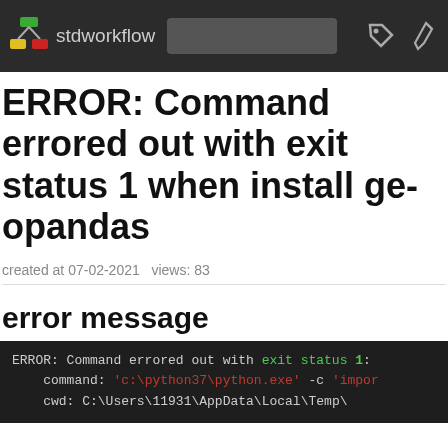stdworkflow
ERROR: Command errored out with exit status 1 when install geopandas
created at 07-02-2021 views: 83
error message
ERROR: Command errored out with exit status 1:
    command: 'c:\python37\python.exe' -c 'impor
    cwd: C:\Users\11931\AppData\Local\Temp\